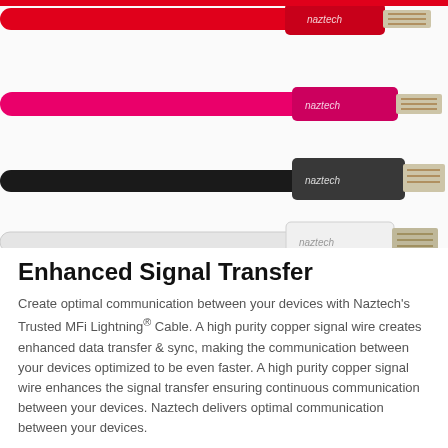[Figure (photo): Four Naztech Lightning cables in red, magenta/pink, black, and white colors, each showing the connector end with 'naztech' branding and Lightning connector tip, arranged horizontally stacked.]
Enhanced Signal Transfer
Create optimal communication between your devices with Naztech's Trusted MFi Lightning® Cable. A high purity copper signal wire creates enhanced data transfer & sync, making the communication between your devices optimized to be even faster. A high purity copper signal wire enhances the signal transfer ensuring continuous communication between your devices. Naztech delivers optimal communication between your devices.